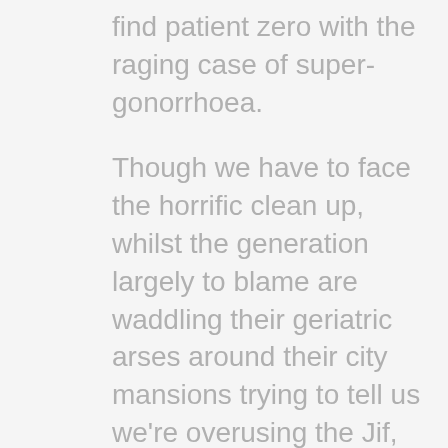find patient zero with the raging case of super-gonorrhoea.
Though we have to face the horrific clean up, whilst the generation largely to blame are waddling their geriatric arses around their city mansions trying to tell us we're overusing the Jif, sometimes it's nothing less than an absolute necessity to, for one night, enter a hyper-stylised world of perfect soundtracks, satisfying character arcs and dialogue that does not include the words woke, feminazi, mindful, yas, cuck